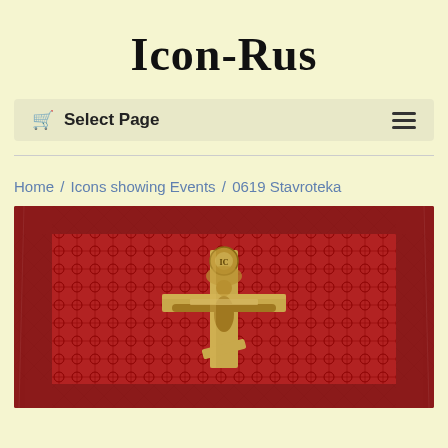Icon-Rus
🛒 Select Page  ≡
Home / Icons showing Events / 0619 Stavroteka
[Figure (photo): Photograph of a Russian Orthodox icon (Stavroteka) featuring a golden crucifix cross relief mounted on a red patterned background, surrounded by a red ornate wooden frame.]